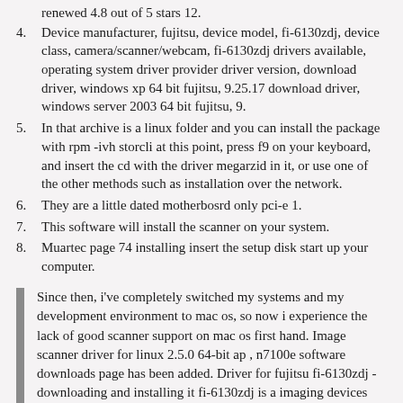renewed 4.8 out of 5 stars 12.
Device manufacturer, fujitsu, device model, fi-6130zdj, device class, camera/scanner/webcam, fi-6130zdj drivers available, operating system driver provider driver version, download driver, windows xp 64 bit fujitsu, 9.25.17 download driver, windows server 2003 64 bit fujitsu, 9.
In that archive is a linux folder and you can install the package with rpm -ivh storcli at this point, press f9 on your keyboard, and insert the cd with the driver megarzid in it, or use one of the other methods such as installation over the network.
They are a little dated motherbosrd only pci-e 1.
This software will install the scanner on your system.
Muartec page 74 installing insert the setup disk start up your computer.
Since then, i've completely switched my systems and my development environment to mac os, so now i experience the lack of good scanner support on mac os first hand. Image scanner driver for linux 2.5.0 64-bit ap , n7100e software downloads page has been added. Driver for fujitsu fi-6130zdj - downloading and installing it fi-6130zdj is a imaging devices hardware device. Small enough to fit on any desk, yet